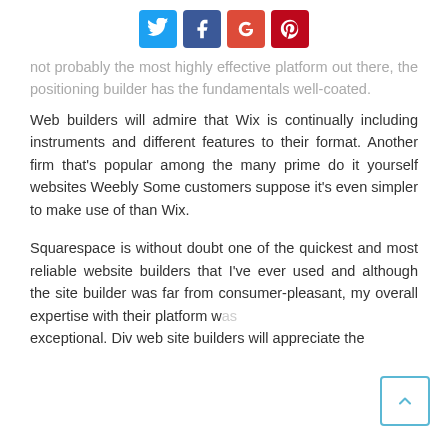[Social share buttons: Twitter, Facebook, Google+, Pinterest]
not probably the most highly effective platform out there, the positioning builder has the fundamentals well-coated.
Web builders will admire that Wix is continually including instruments and different features to their format. Another firm that’s popular among the many prime do it yourself websites Weebly Some customers suppose it’s even simpler to make use of than Wix.
Squarespace is without doubt one of the quickest and most reliable website builders that I’ve ever used and although the site builder was far from consumer-pleasant, my overall expertise with their platform was exceptional. Div web site builders will appreciate the